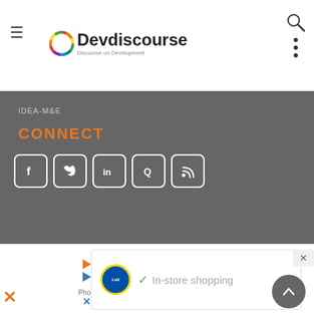Devdiscourse — Discourse on Development
IDEA-M&E
CONNECT
[Figure (illustration): Social media icons: Facebook, Twitter, LinkedIn, Quora, RSS — white rounded square buttons on gray background]
[Figure (logo): Devdiscourse logo — colorful circular ring with Devdiscourse text and tagline Discourse on Development]
Email: info@devdiscourse.com
Phone: 91-120-6111010 — 91-7065708010, 11-15
[Figure (screenshot): Lidl advertisement overlay with In-store shopping checkmark text]
[Figure (illustration): Scroll to top circular button]